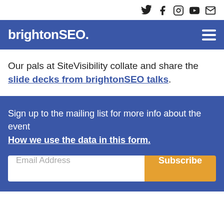[Figure (other): Social media icons: Twitter, Facebook, Instagram, YouTube, Email in top right corner]
brightonSEO.
Our pals at SiteVisibility collate and share the slide decks from brightonSEO talks.
Sign up to the mailing list for more info about the event
How we use the data in this form.
Email Address  Subscribe